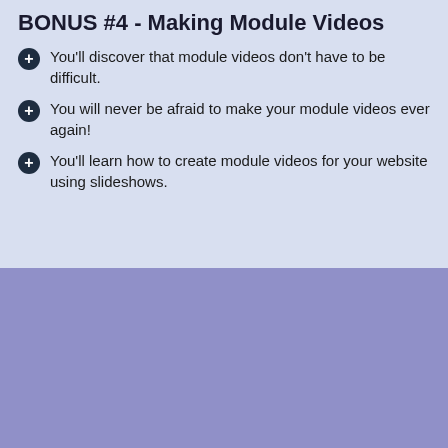BONUS #4 - Making Module Videos
You'll discover that module videos don't have to be difficult.
You will never be afraid to make your module videos ever again!
You'll learn how to create module videos for your website using slideshows.
This site requires cookies in order for us to provide proper service to you and our clients. Learn more
I Accept